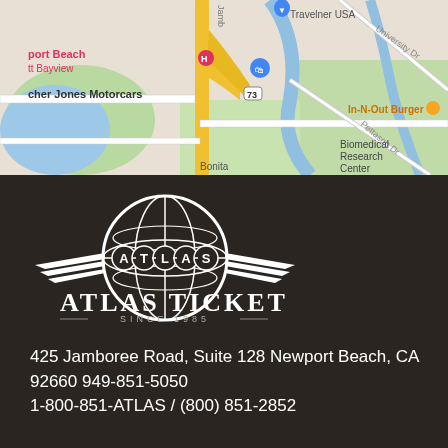[Figure (map): Google Maps screenshot showing area near Newport Beach, CA with landmarks including Newport Beach Marriott Bayview, Fletcher Jones Motorcars, Biomedical Research Center, In-N-Out Burger, Travelner USA, and major roads including Jamboree Rd (Hwy 73). Shows freeway interchange with yellow/orange roads, blue water body on left, and green areas.]
[Figure (logo): Atlas Ticket logo: globe with latitude/longitude lines, wings on either side, letters A-T-L-A-S inside the globe. Below: ATLAS TICKET in large serif bold caps. Below that: SINCE 1985 in small spaced caps with dashes on either side.]
425 Jamboree Road, Suite 128 Newport Beach, CA 92660 949-851-5050
1-800-851-ATLAS / (800) 851-2852